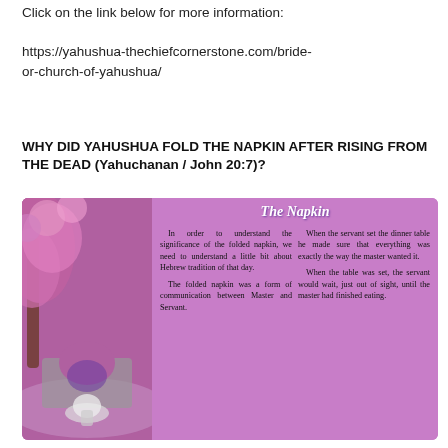Click on the link below for more information:
https://yahushua-thechiefcornerstone.com/bride-or-church-of-yahushua/
WHY DID YAHUSHUA FOLD THE NAPKIN AFTER RISING FROM THE DEAD (Yahuchanan / John 20:7)?
[Figure (illustration): Decorative card with purple background and photo of stone arch bridge with pink flowering trees. Title 'The Napkin' in white italic text. Two columns of text describing Hebrew tradition of the folded napkin as communication between Master and Servant.]